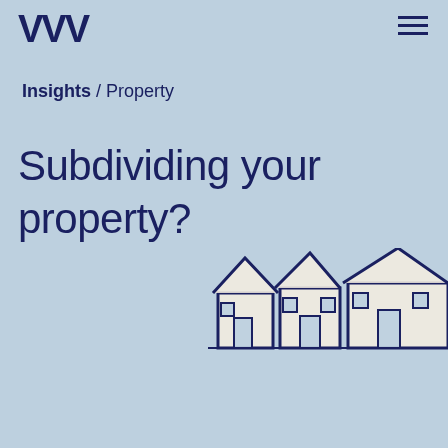VVV
Insights / Property
Subdividing your property?
[Figure (illustration): Partial illustration of row houses/buildings in dark navy blue outline style, appearing at bottom right of the page, partially cropped]